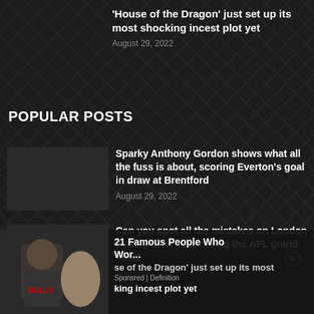'House of the Dragon' just set up its most shocking incest plot yet
August 29, 2022
POPULAR POSTS
Sparky Anthony Gordon shows what all the fuss is about, scoring Everton's goal in draw at Brentford
August 29, 2022
Can you spot all the mistakes on London pub's poster advertising the AFL grand final?
August 29, 2022
[Figure (photo): Person in Chicago Bulls jersey, overlaid with partial article previews]
21 Famous People Who...
se of the Dragon' just set up its most
Sponsred | Definition
king incest plot yet